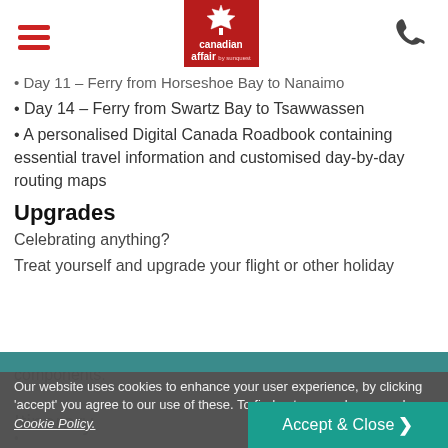Canadian Affair by Sunquest logo, hamburger menu, phone icon
Day 11 – Ferry from Horseshoe Bay to Nanaimo
Day 14 – Ferry from Swartz Bay to Tsawwassen
A personalised Digital Canada Roadbook containing essential travel information and customised day-by-day routing maps
Upgrades
Celebrating anything?
Treat yourself and upgrade your flight or other holiday components.
Our website uses cookies to enhance your user experience, by clicking 'accept' you agree to our use of these. To find out more, please read our Cookie Policy.
Itinerary
Accept & Close